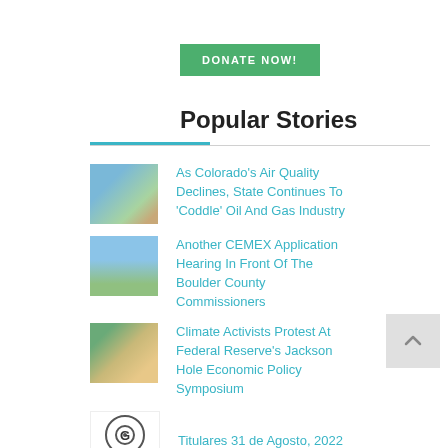DONATE NOW!
Popular Stories
As Colorado's Air Quality Declines, State Continues To 'Coddle' Oil And Gas Industry
Another CEMEX Application Hearing In Front Of The Boulder County Commissioners
Climate Activists Protest At Federal Reserve's Jackson Hole Economic Policy Symposium
Titulares 31 de Agosto, 2022
Morning Magazine Podcast -